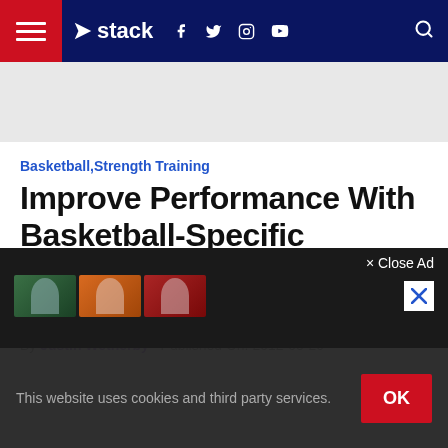stack — navigation bar with hamburger menu, logo, social icons (f, twitter, instagram, youtube), search
[Figure (other): Gray advertisement banner area]
Basketball, Strength Training
Improve Performance With Basketball-Specific Strength and Conditioning Exercises
By Justin Wetherby   Published On: 2012-03-20
[Figure (screenshot): Dark advertisement overlay with × Close Ad button and ad image strip showing athlete photos]
This website uses cookies and third party services.